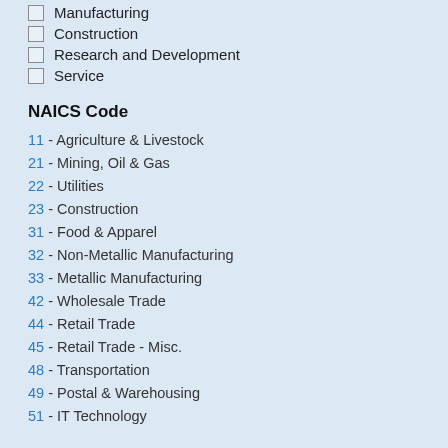Manufacturing
Construction
Research and Development
Service
NAICS Code
11 - Agriculture & Livestock
21 - Mining, Oil & Gas
22 - Utilities
23 - Construction
31 - Food & Apparel
32 - Non-Metallic Manufacturing
33 - Metallic Manufacturing
42 - Wholesale Trade
44 - Retail Trade
45 - Retail Trade - Misc.
48 - Transportation
49 - Postal & Warehousing
51 - IT Technology